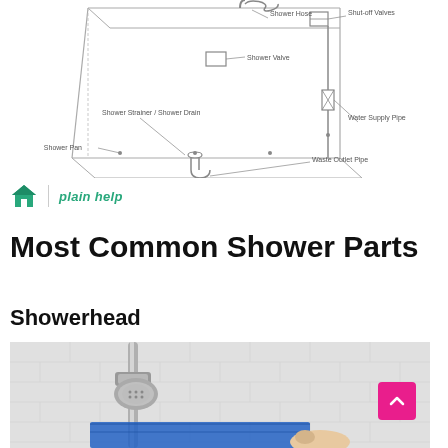[Figure (schematic): Engineering schematic diagram of a shower system with labeled parts: Shower Hose, Shut-off Valves, Shower Valve, Shower Strainer / Shower Drain, Water Supply Pipe, Shower Pan, Waste Outlet Pipe]
[Figure (logo): Plain Help logo: green house icon with vertical divider and italic green text 'plain help']
Most Common Shower Parts
Showerhead
[Figure (photo): Photo of a chrome showerhead on a sliding bar rail mounted on white tiled wall, with a blue towel or cloth visible at the bottom]